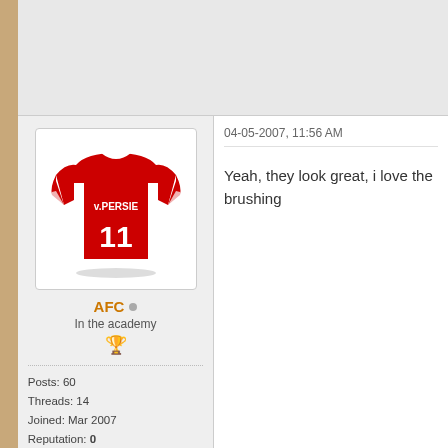[Figure (screenshot): Forum post screenshot showing user AFC's profile on the left with a red Arsenal football shirt avatar (v.PERSIE, number 11), username AFC in orange, 'In the academy' label, a trophy icon, stats (Posts: 60, Threads: 14, Joined: Mar 2007, Reputation: 0), and a UK flag. On the right the post timestamp '04-05-2007, 11:56 AM' and message 'Yeah, they look great, i love the brushing'. Below is a separator row and another post beginning with timestamp '04-18-2007, 03:29 PM'.]